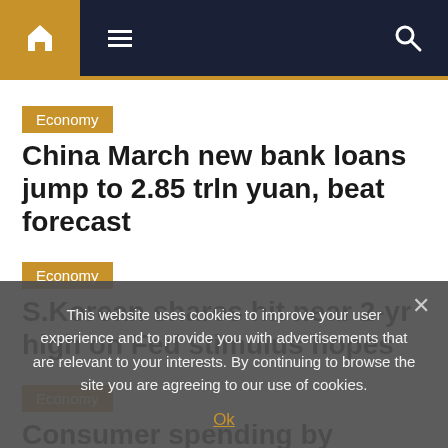Navigation bar with home, menu and search icons
Economy
China March new bank loans jump to 2.85 trln yuan, beat forecast
Economy
S.Korean shares hit near 2-yr high on Fed stimulus hopes
Economy
Consumer spending by S'pore residents last
This website uses cookies to improve your user experience and to provide you with advertisements that are relevant to your interests. By continuing to browse the site you are agreeing to our use of cookies.
Ok